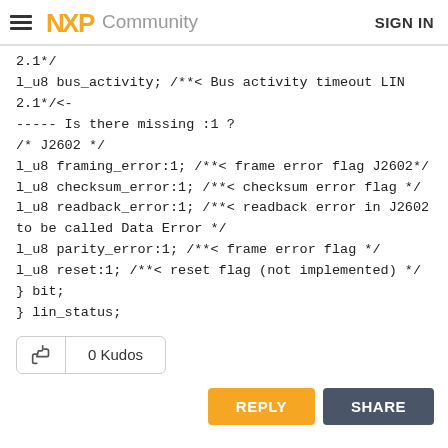NXP Community  SIGN IN
2.1*/
l_u8 bus_activity; /**< Bus activity timeout LIN 2.1*/<------ Is there missing :1 ?
/* J2602 */
l_u8 framing_error:1; /**< frame error flag J2602*/
l_u8 checksum_error:1; /**< checksum error flag */
l_u8 readback_error:1; /**< readback error in J2602 to be called Data Error */
l_u8 parity_error:1; /**< frame error flag */
l_u8 reset:1; /**< reset flag (not implemented) */
} bit;
} lin_status;
0 Kudos
REPLY  SHARE